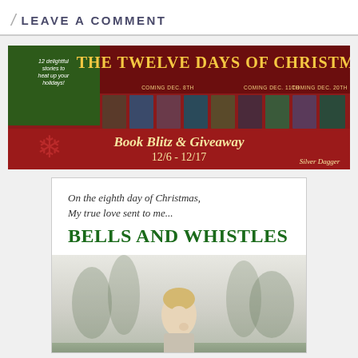/ LEAVE A COMMENT
[Figure (illustration): The Twelve Days of Christmas Book Blitz and Giveaway banner. Red background with golden text 'THE TWELVE DAYS OF CHRISTMAS' at top, multiple romance novel book covers displayed in a row with labels 'COMING DEC. 8TH', 'COMING DEC. 11TH', 'COMING DEC. 20TH'. Bottom half shows 'BOOK BLITZ & GIVEAWAY 12/6 - 12/17' with snowflake decorations and Silver Dagger branding.]
[Figure (illustration): Book cover/promo card for 'Bells and Whistles'. White card with text 'On the eighth day of Christmas, My true love sent to me...' in serif font, followed by title 'BELLS AND WHISTLES' in large dark green bold font. Below is a misty forest scene with a young blond male figure in the foreground.]